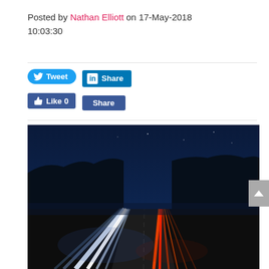Posted by Nathan Elliott on 17-May-2018 10:03:30
[Figure (other): Social media share buttons: Tweet (Twitter), Share (LinkedIn), Like 0 (Facebook), Share (Facebook)]
[Figure (photo): Night-time long-exposure photo of a highway with white and red/orange light trails from car headlights and tail lights, surrounded by dark forest and a dark blue sky.]